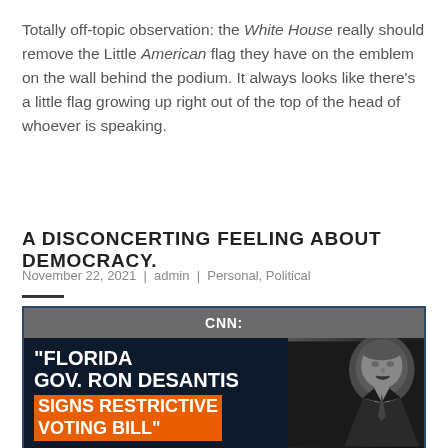Totally off-topic observation: the White House really should remove the Little American flag they have on the emblem on the wall behind the podium. It always looks like there's a little flag growing up right out of the top of the head of whoever is speaking.
A DISCONCERTING FEELING ABOUT DEMOCRACY.
November 22, 2021 | admin | Personal, Political
[Figure (photo): CNN news graphic showing headline 'Florida Gov. Ron DeSantis Signs Restrictive Voting Bill' with a black and white photo of a man speaking, CNN banner at top, orange highlighted text for the bill description.]